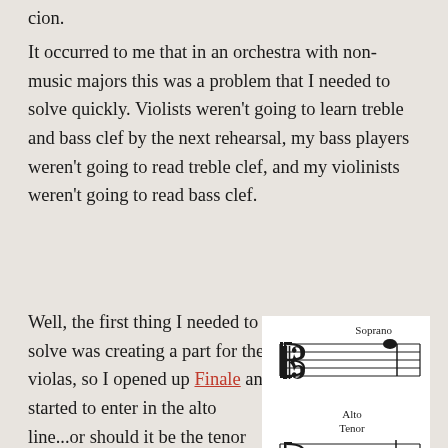cion.
It occurred to me that in an orchestra with non-music majors this was a problem that I needed to solve quickly. Violists weren't going to learn treble and bass clef by the next rehearsal, my bass players weren't going to read treble clef, and my violinists weren't going to read bass clef.
Well, the first thing I needed to solve was creating a part for the violas, so I opened up Finale and started to enter in the alto line...or should it be the tenor line? Why not all of the lines – soprano/alto/tenor/bass – just like the piano score? And that's what I
[Figure (illustration): Music notation diagram showing C clef positions labeled Soprano (top), Alto, Tenor, and Bass, with two staves each showing the C clef symbol and a note.]